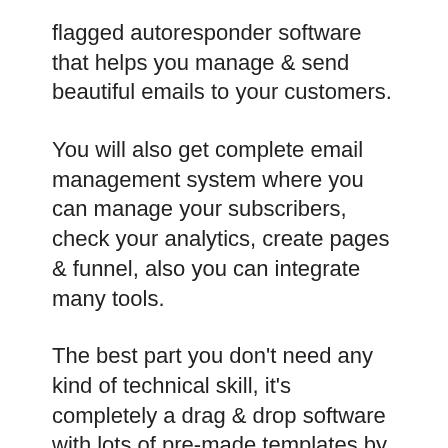flagged autoresponder software that helps you manage & send beautiful emails to your customers.
You will also get complete email management system where you can manage your subscribers, check your analytics, create pages & funnel, also you can integrate many tools.
The best part you don't need any kind of technical skill, it's completely a drag & drop software with lots of pre-made templates by that you can create amazing emails in minutes.